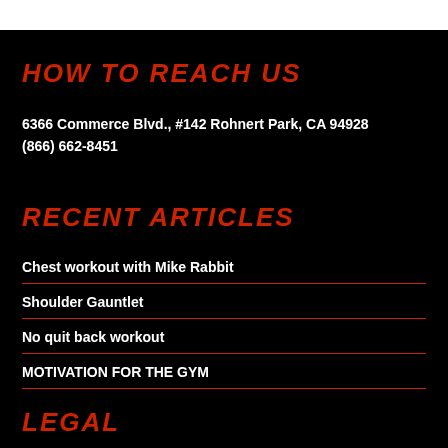HOW TO REACH US
6366 Commerce Blvd., #142 Rohnert Park, CA 94928
(866) 662-8451
RECENT ARTICLES
Chest workout with Mike Rabbit
Shoulder Gauntlet
No quit back workout
MOTIVATION FOR THE GYM
LEGAL